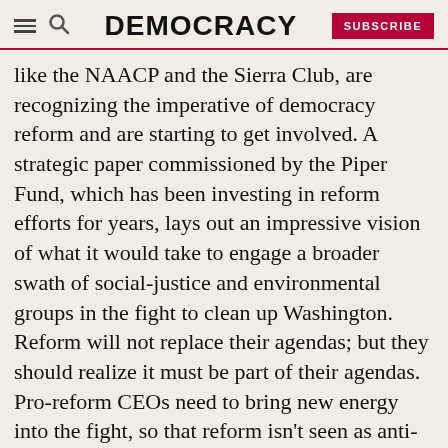DEMOCRACY
like the NAACP and the Sierra Club, are recognizing the imperative of democracy reform and are starting to get involved. A strategic paper commissioned by the Piper Fund, which has been investing in reform efforts for years, lays out an impressive vision of what it would take to engage a broader swath of social-justice and environmental groups in the fight to clean up Washington. Reform will not replace their agendas; but they should realize it must be part of their agendas. Pro-reform CEOs need to bring new energy into the fight, so that reform isn't seen as anti-business but, rather, anti-cronyism. Republicans and Tea Party members need to join the phalanx, too, whether out of their